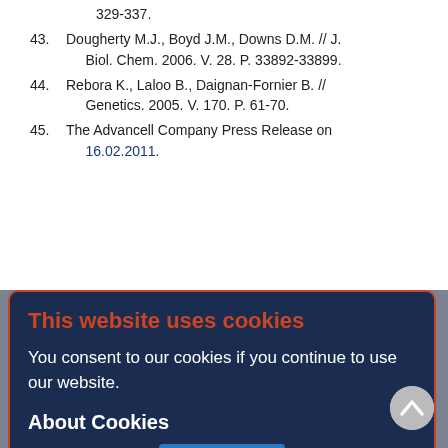329-337.
43. Dougherty M.J., Boyd J.M., Downs D.M. // J. Biol. Chem. 2006. V. 28. P. 33892-33899.
44. Rebora K., Laloo B., Daignan-Fornier B. // Genetics. 2005. V. 170. P. 61-70.
45. The Advancell Company Press Release on 16.02.2011.
[Figure (screenshot): Cookie consent modal dialog with dark navy background and orange border. Title 'This website uses cookies' in orange/red. Body text 'You consent to our cookies if you continue to use our website.' Section header 'About Cookies' in white bold. Blue OK button. Background shows partially visible reference list text.]
Copyright (c) 2011 Lobanov K.V., Errais Lopes L., Korol'kova N.V., Tyaglov B.V., Glazunov A.V., Shakulov R.S., Mironov A.S.
[Figure (logo): Creative Commons BY license badge - black and white square badge with CC and person icons and BY text]
This work is licensed under a Creative Commons